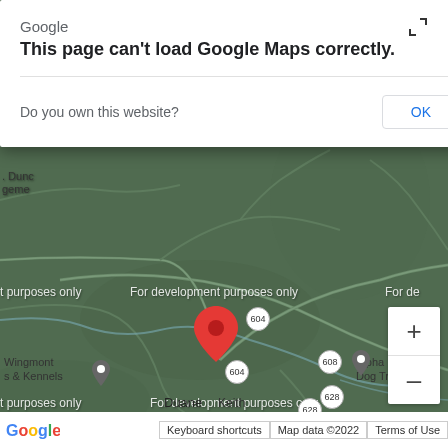[Figure (screenshot): Google Maps screenshot showing a map area around 'Duane' with roads, place markers for 'Wingmont & Kennels', 'Alpha Love Dog Training', route badges 604, 608, 628, a red location pin, and 'For development purposes only' watermarks. Background map has dark green terrain.]
Google
This page can't load Google Maps correctly.
Do you own this website?
OK
For development purposes only
Duane
Wingmont
& Kennels
Alpha Love
Dog Training
Keith
Keyboard shortcuts
Map data ©2022
Terms of Use